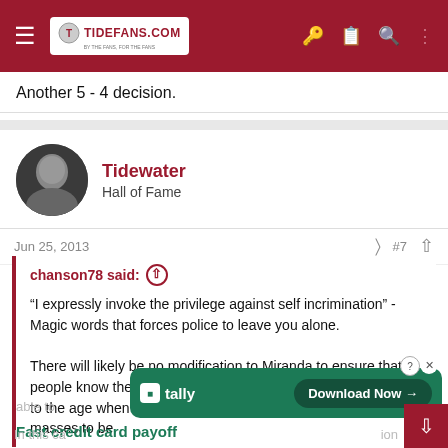TideFans.com
Another 5 - 4 decision.
Tidewater
Hall of Fame
Jun 25, 2013   #7
chanson78 said:
“I expressly invoke the privilege against self incrimination” - Magic words that forces police to leave you alone.

There will likely be no modification to Miranda to ensure that people know these magic words. It is almost hearkening back to the age when those with power witheld knowledge from the masses to be able to
In this ca...                                                              ...ion